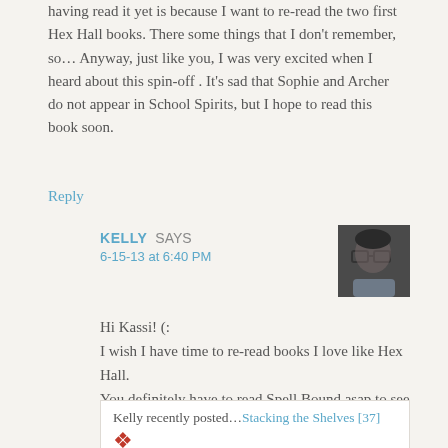having read it yet is because I want to re-read the two first Hex Hall books. There some things that I don't remember, so… Anyway, just like you, I was very excited when I heard about this spin-off . It's sad that Sophie and Archer do not appear in School Spirits, but I hope to read this book soon.
Reply
KELLY SAYS
6-15-13 at 6:40 PM
[Figure (photo): Small avatar photo of Kelly, a person with dark hair and glasses]
Hi Kassi! (:
I wish I have time to re-read books I love like Hex Hall.
You definitely have to read Spell Bound asap to see how it ends! ;D
It's very disappointing that Sophie and Archer doesn't appear in School Spirits. ):
Kelly recently posted...Stacking the Shelves [37]